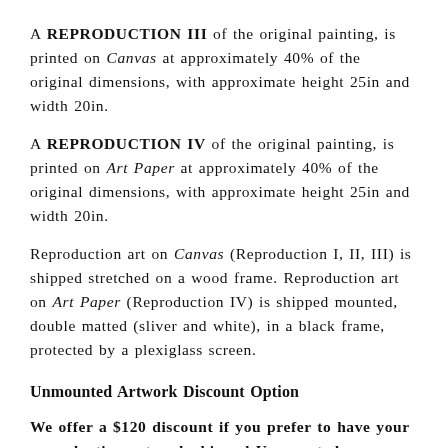A REPRODUCTION III of the original painting, is printed on Canvas at approximately 40% of the original dimensions, with approximate height 25in and width 20in.
A REPRODUCTION IV of the original painting, is printed on Art Paper at approximately 40% of the original dimensions, with approximate height 25in and width 20in.
Reproduction art on Canvas (Reproduction I, II, III) is shipped stretched on a wood frame. Reproduction art on Art Paper (Reproduction IV) is shipped mounted, double matted (sliver and white), in a black frame, protected by a plexiglass screen.
Unmounted Artwork Discount Option
We offer a $120 discount if you prefer to have your reproduction artwork shipped Unmounted. Unmounted Artwork on Canvas (Reproduction I, II, III) is shipped rolled in a tube, and Unmounted Artwork on Art Paper...